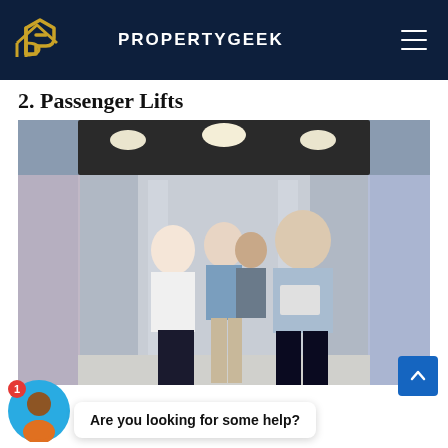PROPERTYGEEK
2. Passenger Lifts
[Figure (photo): Three people (two women and one man) standing inside an elevator with metallic walls and ceiling lights. The man on the right is holding a laptop/folder. The elevator doors are open.]
s of ansp
[Figure (other): Chat widget: avatar with notification badge and speech bubble saying 'Are you looking for some help?']